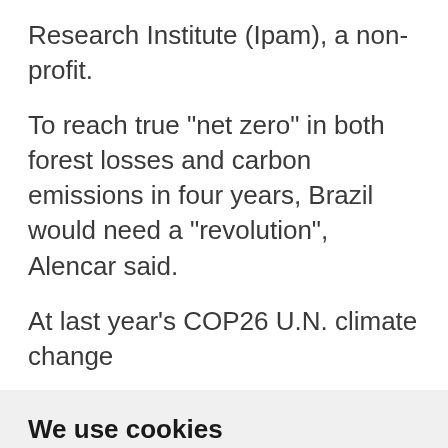Research Institute (Ipam), a non-profit.
To reach true "net zero" in both forest losses and carbon emissions in four years, Brazil would need a "revolution", Alencar said.
At last year's COP26 U.N. climate change
We use cookies
We use cookies and other tracking technologies to improve your browsing experience on our website, to show you personalized content and targeted ads, to analyze our website traffic, and to understand where our visitors are coming from.